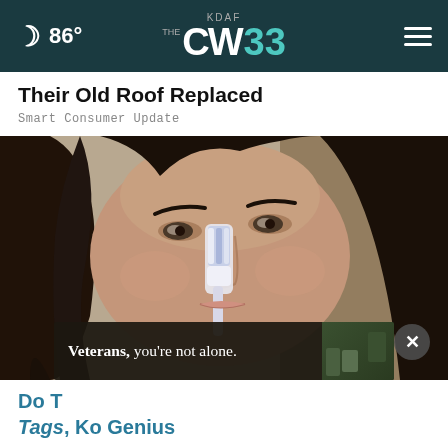86° KDAF CW33
Their Old Roof Replaced
Smart Consumer Update
[Figure (photo): Close-up photo of a dark-haired woman using a toothbrush on her nose, with a dark background. An advertisement overlay reads 'Veterans, you're not alone.' with a small image on the right. A close/X button appears bottom-right of the main image.]
Do T... Tags, Ko Genius